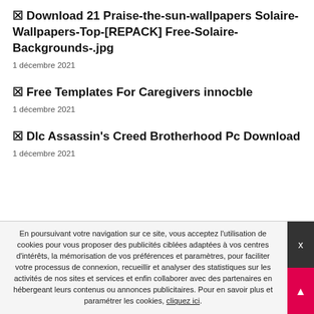🔲 Download 21 Praise-the-sun-wallpapers Solaire-Wallpapers-Top-[REPACK] Free-Solaire-Backgrounds-.jpg
1 décembre 2021
🔲 Free Templates For Caregivers innocble
1 décembre 2021
🔲 Dlc Assassin's Creed Brotherhood Pc Download
1 décembre 2021
En poursuivant votre navigation sur ce site, vous acceptez l'utilisation de cookies pour vous proposer des publicités ciblées adaptées à vos centres d'intérêts, la mémorisation de vos préférences et paramètres, pour faciliter votre processus de connexion, recueillir et analyser des statistiques sur les activités de nos sites et services et enfin collaborer avec des partenaires en hébergeant leurs contenus ou annonces publicitaires. Pour en savoir plus et paramétrer les cookies, cliquez ici.